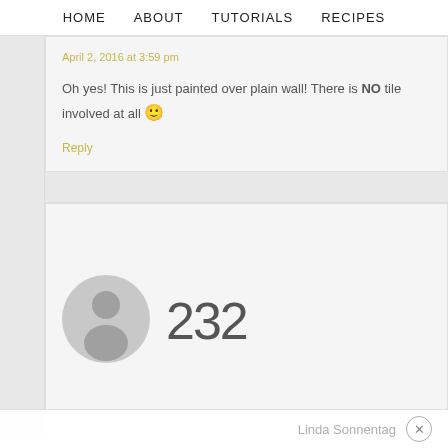HOME   ABOUT   TUTORIALS   RECIPES
April 2, 2016 at 3:59 pm
Oh yes! This is just painted over plain wall! There is NO tile involved at all 🙂
Reply
[Figure (illustration): Default user avatar circle with silhouette, next to large number 232]
Linda Sonnentag